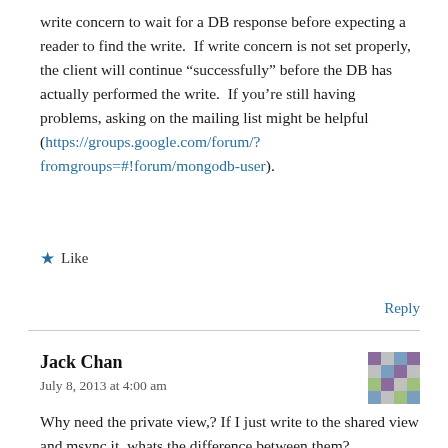write concern to wait for a DB response before expecting a reader to find the write.  If write concern is not set properly, the client will continue “successfully” before the DB has actually performed the write.  If you’re still having problems, asking on the mailing list might be helpful (https://groups.google.com/forum/?fromgroups=#!forum/mongodb-user).
★ Like
Reply
Jack Chan
July 8, 2013 at 4:00 am
[Figure (other): Avatar/profile image for Jack Chan - a pixelated colorful pattern]
Why need the private view,? If I just write to the shared view and msync it, whats the difference between them?